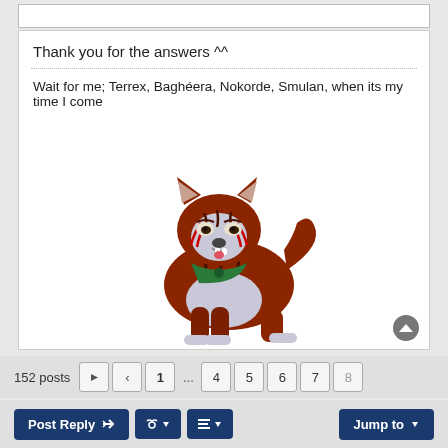Thank you for the answers ^^
Wait for me; Terrex, Baghéera, Nokorde, Smulan, when its my time I come
[Figure (illustration): Cartoon illustration of a fierce-looking brown and white dog with red facial markings and a green bandana, facing left]
Avatar made by Kique (snow added by Nana)
Banners by GB members
Twitter | GingaWiki
Post Reply
152 posts  1  ...  4  5  6  7  8
Jump to